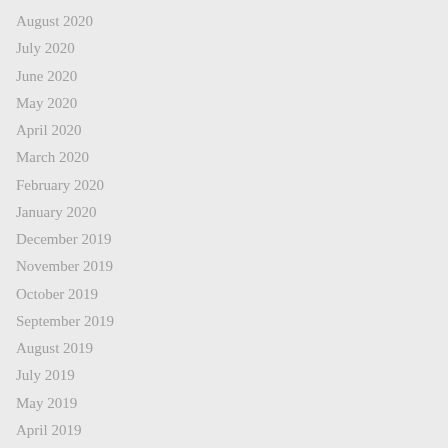August 2020
July 2020
June 2020
May 2020
April 2020
March 2020
February 2020
January 2020
December 2019
November 2019
October 2019
September 2019
August 2019
July 2019
May 2019
April 2019